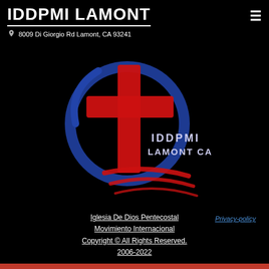IDDPMI LAMONT
8009 Di Giorgio Rd Lamont, CA 93241
[Figure (logo): IDDPMI Lamont CA church logo featuring a red cross and blue circular emblem with red swoosh lines and text 'IDDPMI LAMONT CA']
Iglesia De Dios Pentecostal Movimiento Internacional Copyright © All Rights Reserved. 2006-2022
Privacy-policy